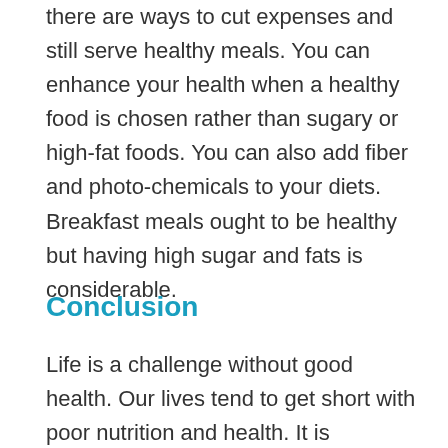there are ways to cut expenses and still serve healthy meals. You can enhance your health when a healthy food is chosen rather than sugary or high-fat foods. You can also add fiber and photo-chemicals to your diets. Breakfast meals ought to be healthy but having high sugar and fats is considerable.
Conclusion
Life is a challenge without good health. Our lives tend to get short with poor nutrition and health. It is exceptionally difficult to be healthy if we do not engage